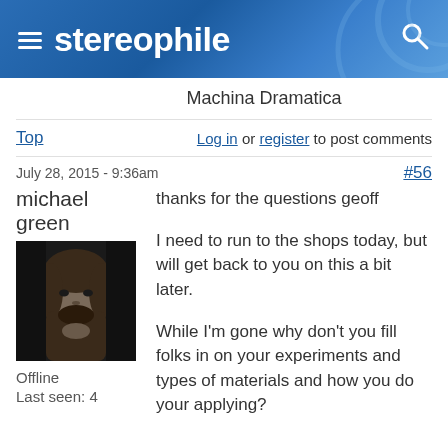stereophile
Machina Dramatica
Top   Log in or register to post comments
July 28, 2015 - 9:36am   #56
michael green
[Figure (photo): Black and white portrait photo of michael green]
Offline
Last seen: 4
thanks for the questions geoff

I need to run to the shops today, but will get back to you on this a bit later.

While I'm gone why don't you fill folks in on your experiments and types of materials and how you do your applying?